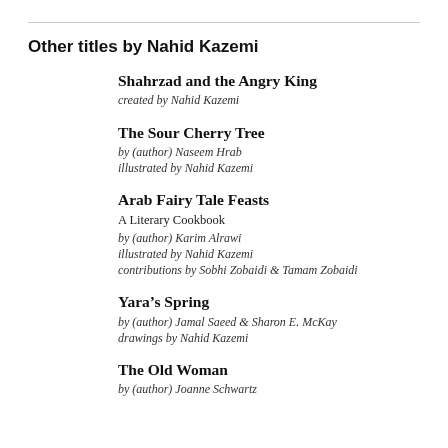Other titles by Nahid Kazemi
Shahrzad and the Angry King
created by Nahid Kazemi
The Sour Cherry Tree
by (author) Naseem Hrab
illustrated by Nahid Kazemi
Arab Fairy Tale Feasts
A Literary Cookbook
by (author) Karim Alrawi
illustrated by Nahid Kazemi
contributions by Sobhi Zobaidi & Tamam Zobaidi
Yara’s Spring
by (author) Jamal Saeed & Sharon E. McKay
drawings by Nahid Kazemi
The Old Woman
by (author) Joanne Schwartz